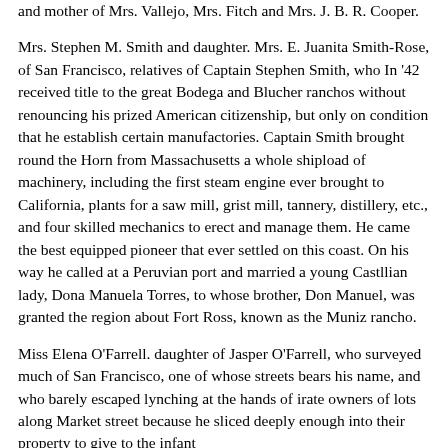and mother of Mrs. Vallejo, Mrs. Fitch and Mrs. J. B. R. Cooper.
Mrs. Stephen M. Smith and daughter. Mrs. E. Juanita Smith-Rose, of San Francisco, relatives of Captain Stephen Smith, who In '42 received title to the great Bodega and Blucher ranchos without renouncing his prized American citizenship, but only on condition that he establish certain manufactories. Captain Smith brought round the Horn from Massachusetts a whole shipload of machinery, including the first steam engine ever brought to California, plants for a saw mill, grist mill, tannery, distillery, etc., and four skilled mechanics to erect and manage them. He came the best equipped pioneer that ever settled on this coast. On his way he called at a Peruvian port and married a young Castllian lady, Dona Manuela Torres, to whose brother, Don Manuel, was granted the region about Fort Ross, known as the Muniz rancho.
Miss Elena O'Farrell. daughter of Jasper O'Farrell, who surveyed much of San Francisco, one of whose streets bears his name, and who barely escaped lynching at the hands of irate owners of lots along Market street because he sliced deeply enough into their property to give to the infant